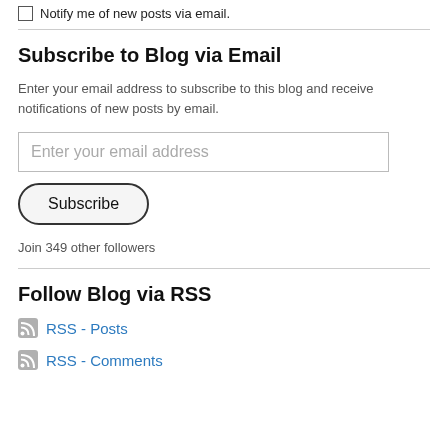Notify me of new posts via email.
Subscribe to Blog via Email
Enter your email address to subscribe to this blog and receive notifications of new posts by email.
Enter your email address
Subscribe
Join 349 other followers
Follow Blog via RSS
RSS - Posts
RSS - Comments